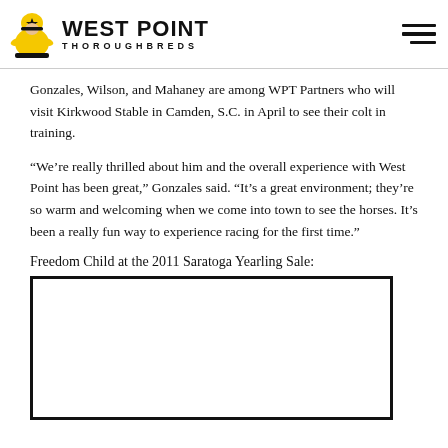WEST POINT THOROUGHBREDS
Gonzales, Wilson, and Mahaney are among WPT Partners who will visit Kirkwood Stable in Camden, S.C. in April to see their colt in training.
“We’re really thrilled about him and the overall experience with West Point has been great,” Gonzales said. “It’s a great environment; they’re so warm and welcoming when we come into town to see the horses. It’s been a really fun way to experience racing for the first time.”
Freedom Child at the 2011 Saratoga Yearling Sale:
[Figure (photo): Blank/white image box representing Freedom Child at the 2011 Saratoga Yearling Sale]